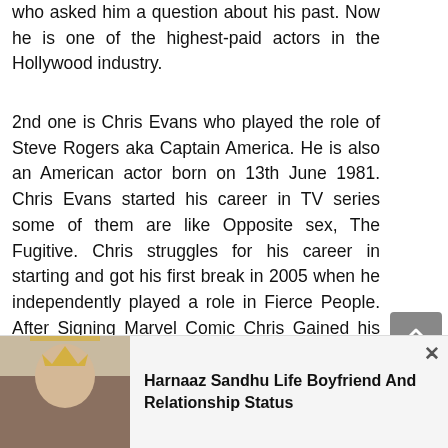who asked him a question about his past. Now he is one of the highest-paid actors in the Hollywood industry.
2nd one is Chris Evans who played the role of Steve Rogers aka Captain America. He is also an American actor born on 13th June 1981. Chris Evans started his career in TV series some of them are like Opposite sex, The Fugitive. Chris struggles for his career in starting and got his first break in 2005 when he independently played a role in Fierce People. After Signing Marvel Comic Chris Gained his international fans and he maintains to receive various awards through his acting in all the m...
[Figure (photo): Photo of a woman wearing a crown (Miss Universe contestant) at the bottom left of the page, part of an advertisement banner]
Harnaaz Sandhu Life Boyfriend And Relationship Status